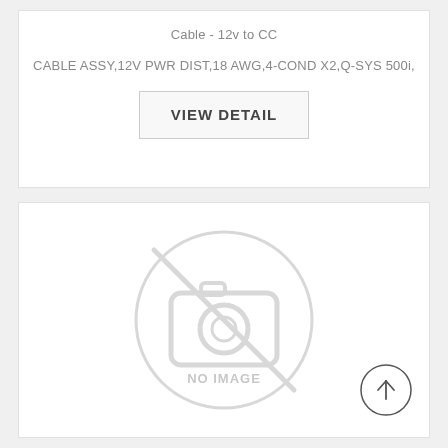Cable - 12v to CC
CABLE ASSY,12V PWR DIST,18 AWG,4-COND X2,Q-SYS 500i,
VIEW DETAIL
[Figure (illustration): No image placeholder with a camera icon crossed out and text 'NO IMAGE' in a large circle]